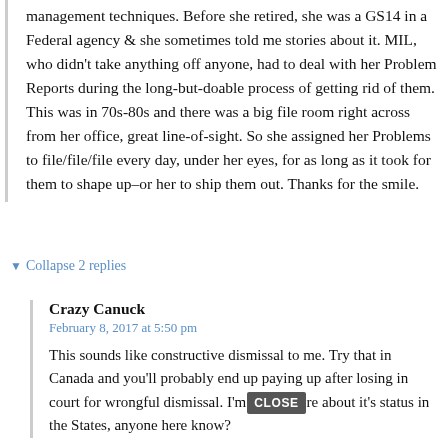management techniques. Before she retired, she was a GS14 in a Federal agency & she sometimes told me stories about it. MIL, who didn't take anything off anyone, had to deal with her Problem Reports during the long-but-doable process of getting rid of them. This was in 70s-80s and there was a big file room right across from her office, great line-of-sight. So she assigned her Problems to file/file/file every day, under her eyes, for as long as it took for them to shape up–or her to ship them out. Thanks for the smile.
▼ Collapse 2 replies
Crazy Canuck
February 8, 2017 at 5:50 pm
This sounds like constructive dismissal to me. Try that in Canada and you'll probably end up paying up after losing in court for wrongful dismissal. I'm [CLOSE] re about it's status in the States, anyone here know?